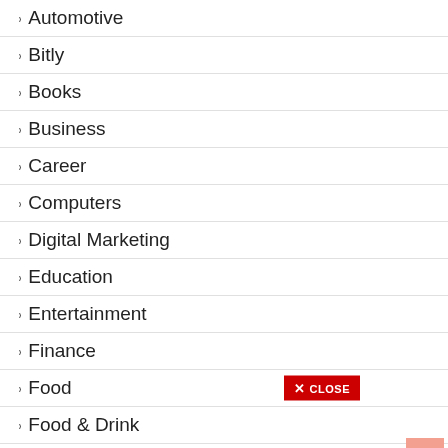Automotive
Bitly
Books
Business
Career
Computers
Digital Marketing
Education
Entertainment
Finance
Food
Food & Drink
Gaming